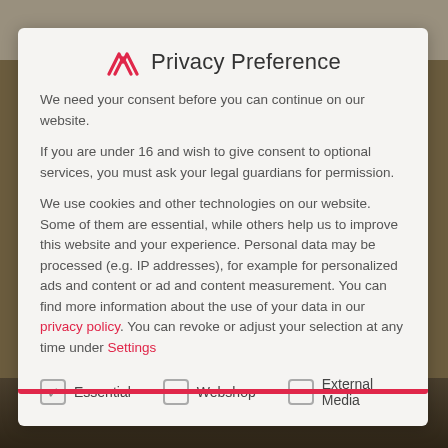Privacy Preference
We need your consent before you can continue on our website.
If you are under 16 and wish to give consent to optional services, you must ask your legal guardians for permission.
We use cookies and other technologies on our website. Some of them are essential, while others help us to improve this website and your experience. Personal data may be processed (e.g. IP addresses), for example for personalized ads and content or ad and content measurement. You can find more information about the use of your data in our privacy policy. You can revoke or adjust your selection at any time under Settings
Essential
Webshop
External Media